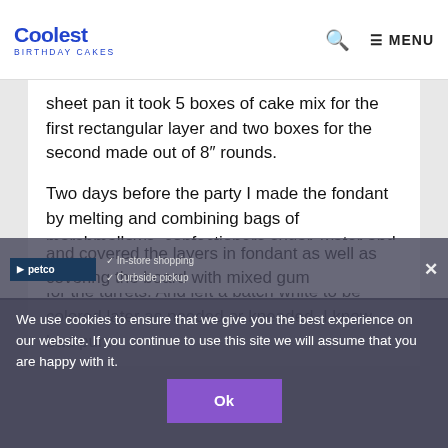Coolest Birthday Cakes — MENU
sheet pan it took 5 boxes of cake mix for the first rectangular layer and two boxes for the second made out of 8" rounds.
Two days before the party I made the fondant by melting and combining bags of marshmallows, confectioners sugar, water and color gel.  I made grey for the castle and pink for the turrets. And left a batch white to be colored later as needed or kneaded. I know bad pun.
and covered the layers in fondant as well as covering the board with mixed gum
We use cookies to ensure that we give you the best experience on our website. If you continue to use this site we will assume that you are happy with it. Ok